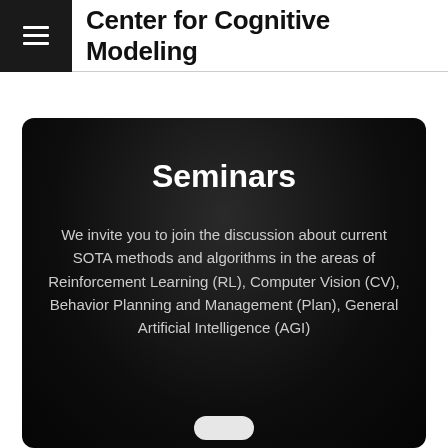Center for Cognitive Modeling
Seminars
We invite you to join the discussion about current SOTA methods and algorithms in the areas of Reinforcement Learning (RL), Computer Vision (CV), Behavior Planning and Management (Plan), General Artificial Intelligence (AGI)